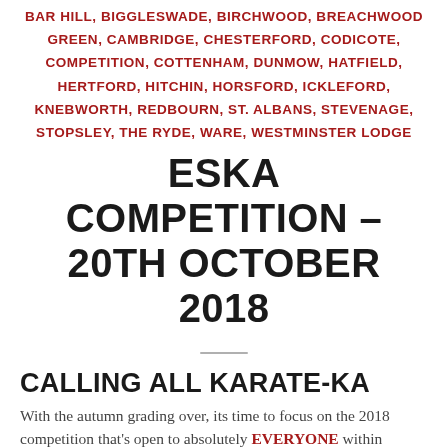BAR HILL, BIGGLESWADE, BIRCHWOOD, BREACHWOOD GREEN, CAMBRIDGE, CHESTERFORD, CODICOTE, COMPETITION, COTTENHAM, DUNMOW, HATFIELD, HERTFORD, HITCHIN, HORSFORD, ICKLEFORD, KNEBWORTH, REDBOURN, ST. ALBANS, STEVENAGE, STOPSLEY, THE RYDE, WARE, WESTMINSTER LODGE
ESKA COMPETITION – 20TH OCTOBER 2018
CALLING ALL KARATE-KA
With the autumn grading over, its time to focus on the 2018 competition that's open to absolutely EVERYONE within ESKA. This year the competition is on a Saturday and all contestants will receive a participation medal and certificate with trophies